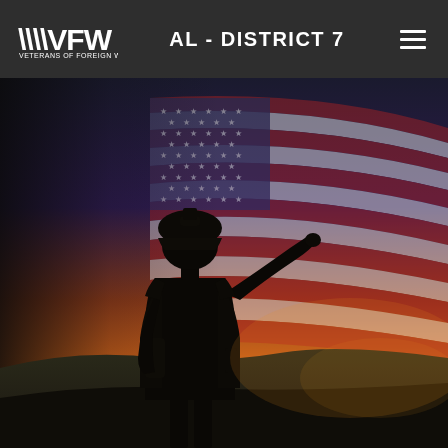VFW – Veterans of Foreign Wars | AL - DISTRICT 7
[Figure (photo): A silhouetted soldier in full tactical gear saluting against a large American flag backdrop at sunset, standing on a hilltop with dramatic golden-orange sky.]